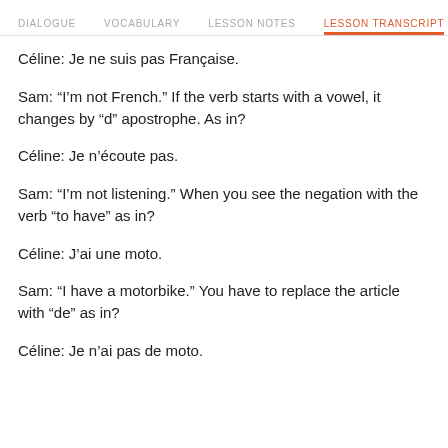DIALOGUE  VOCABULARY  LESSON NOTES  LESSON TRANSCRIPT
Céline: Je ne suis pas Française.
Sam: “I’m not French.” If the verb starts with a vowel, it changes by “d” apostrophe. As in?
Céline: Je n’écoute pas.
Sam: “I’m not listening.” When you see the negation with the verb “to have” as in?
Céline: J’ai une moto.
Sam: “I have a motorbike.” You have to replace the article with “de” as in?
Céline: Je n’ai pas de moto.